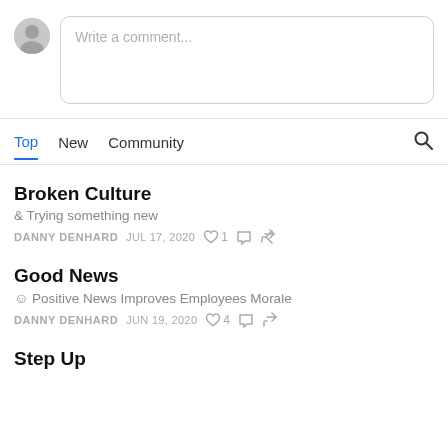[Figure (screenshot): Comment input box with avatar and placeholder text 'Write a comment...']
Top | New | Community
Broken Culture
& Trying something new
DANNY DENHARD   JUL 17, 2020   ♡ 1   ○   ↗
Good News
☺ Positive News Improves Employees Morale
DANNY DENHARD   JUN 19, 2020   ♡ 4   ○   ↗
Step Up